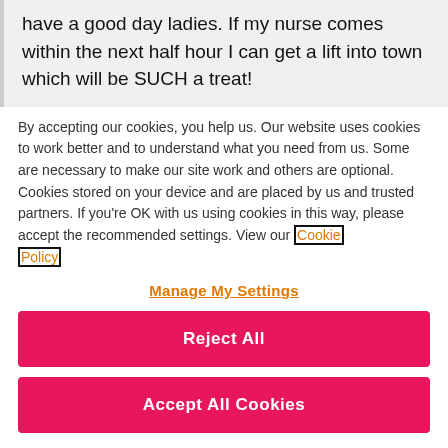have a good day ladies. If my nurse comes within the next half hour I can get a lift into town which will be SUCH a treat!
By accepting our cookies, you help us. Our website uses cookies to work better and to understand what you need from us. Some are necessary to make our site work and others are optional. Cookies stored on your device and are placed by us and trusted partners. If you're OK with us using cookies in this way, please accept the recommended settings. View our Cookie Policy
Manage My Settings
Reject All
Accept All Cookies